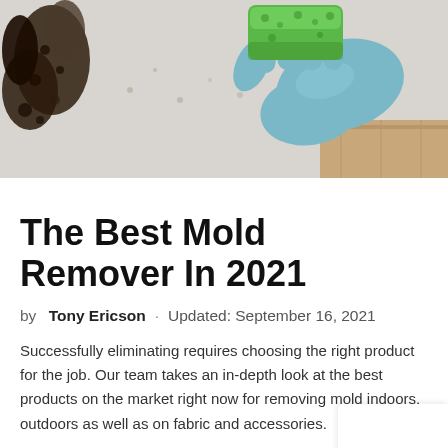[Figure (photo): Close-up photo of a gloved hand (blue latex glove) scrubbing a mold-stained wall with a green sponge. The wall has dark mold patches on the left side and the surface appears to be concrete or drywall.]
The Best Mold Remover In 2021
by Tony Ericson · Updated: September 16, 2021
Successfully eliminating requires choosing the right product for the job. Our team takes an in-depth look at the best products on the market right now for removing mold indoors, outdoors as well as on fabric and accessories.